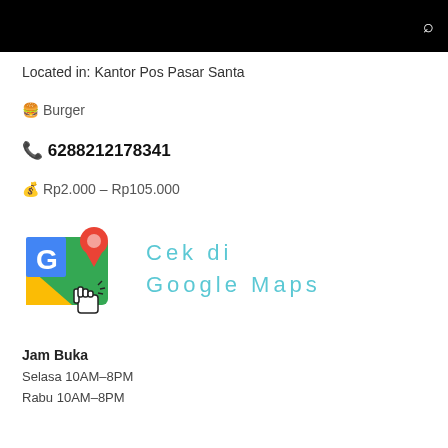Located in: Kantor Pos Pasar Santa
🍔 Burger
📞 6288212178341
💰 Rp2.000 – Rp105.000
[Figure (infographic): Google Maps logo with location pin and cursor hand icon, with text 'Cek di Google Maps' in cyan spaced letters]
Jam Buka
Selasa 10AM–8PM
Rabu 10AM–8PM